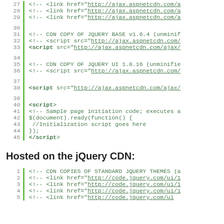[Figure (screenshot): Code block showing HTML with line numbers 27-45, featuring jQuery CDN script tags, comments, and document.ready initialization code. Lines include commented-out CDN links for jQuery base v1.6.4 and jQuery UI 1.8.16, active script tags, and a sample page initiation code block.]
Hosted on the jQuery CDN:
[Figure (screenshot): Code block showing HTML with line numbers 1-5, featuring CDN copies of standard jQuery themes with commented-out link href tags pointing to code.jquery.com.]